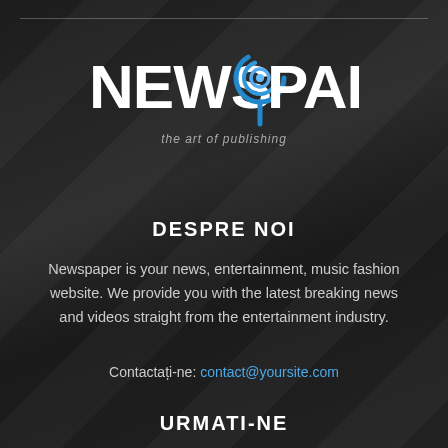[Figure (logo): NEWS 9 PAPER logo with blue swirl/9 icon and tagline 'the art of publishing']
DESPRE NOI
Newspaper is your news, entertainment, music fashion website. We provide you with the latest breaking news and videos straight from the entertainment industry.
Contactați-ne: contact@yoursite.com
URMATI-NE